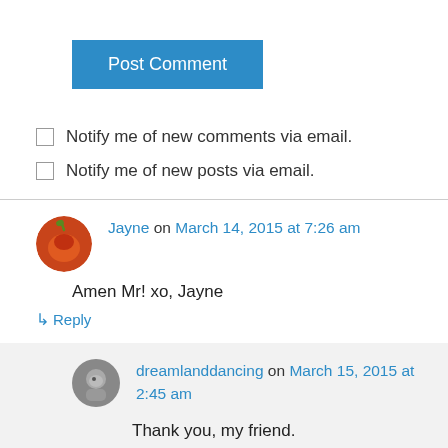[Figure (other): Post Comment button - blue rectangular button with white text]
Notify me of new comments via email.
Notify me of new posts via email.
Jayne on March 14, 2015 at 7:26 am
Amen Mr! xo, Jayne
↳ Reply
dreamlanddancing on March 15, 2015 at 2:45 am
Thank you, my friend.